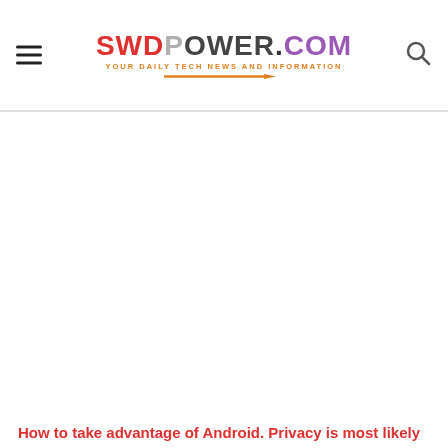SWDPower.COM — YOUR DAILY TECH NEWS AND INFORMATION
[Figure (other): Large blank/white advertisement or image placeholder in the main content area]
How to take advantage of Android. Privacy is most likely